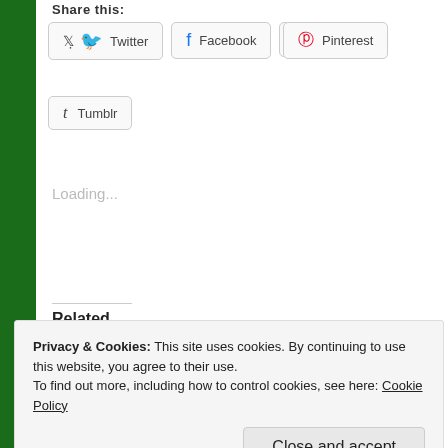Share this:
Twitter
Facebook
Email
Pinterest
Tumblr
Loading...
Related
Going it Alone in Sochi
February 7, 2014
In "Olympics"
The Road to Rio
August 2, 2016
In "Current events"
First Time Gold
Privacy & Cookies: This site uses cookies. By continuing to use this website, you agree to their use.
To find out more, including how to control cookies, see here: Cookie Policy
Close and accept